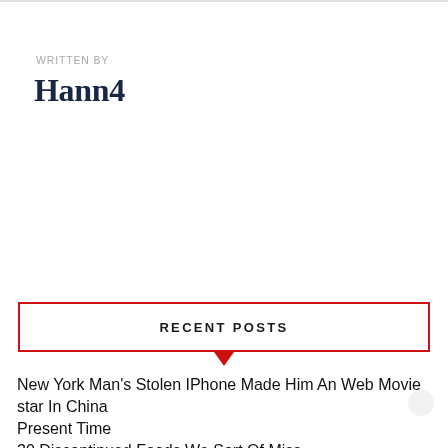WRITTEN BY
Hann4
RECENT POSTS
New York Man's Stolen IPhone Made Him An Web Movie star In China
Present Time
30 Discontinued Foods We Sort Of Miss